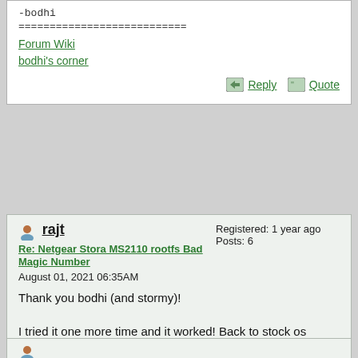-bodhi
===========================
Forum Wiki
bodhi's corner
Reply  Quote
rajt
Re: Netgear Stora MS2110 rootfs Bad Magic Number
August 01, 2021 06:35AM
Registered: 1 year ago
Posts: 6
Thank you bodhi (and stormy)!

I tried it one more time and it worked! Back to stock os :)
The funny thing is that I already did this ten times. Now I will try to boot in to the Debian rootfs.

-rajt
Reply  Quote